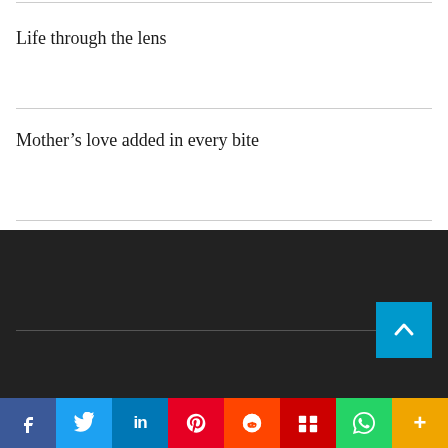Life through the lens
Mother’s love added in every bite
[Figure (screenshot): Dark footer section with a horizontal rule and a cyan scroll-to-top arrow button in the bottom right corner]
Social share bar: Facebook, Twitter, LinkedIn, Pinterest, Reddit, Mix, WhatsApp, More